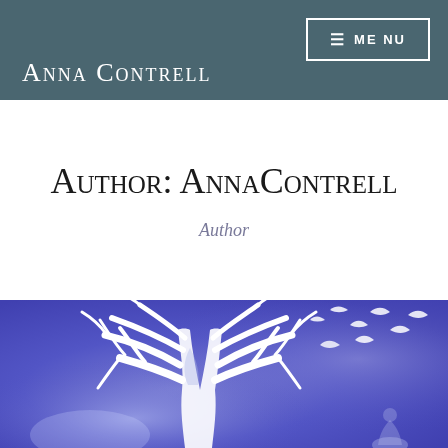Anna Contrell
Author: AnnaContrell
Author
[Figure (illustration): A stylized white bare tree with birds flying off the branches against a purple/blue watercolor background, with a faint figure below.]